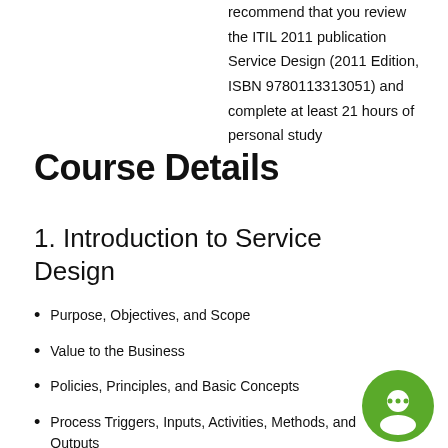recommend that you review the ITIL 2011 publication Service Design (2011 Edition, ISBN 9780113313051) and complete at least 21 hours of personal study
Course Details
1. Introduction to Service Design
Purpose, Objectives, and Scope
Value to the Business
Policies, Principles, and Basic Concepts
Process Triggers, Inputs, Activities, Methods, and Outputs
[Figure (illustration): Green circular chat/message icon in the bottom right corner]